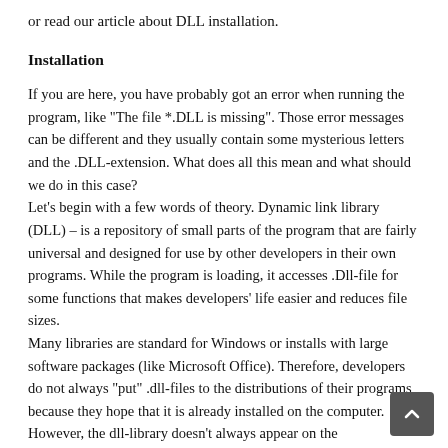or read our article about DLL installation.
Installation
If you are here, you have probably got an error when running the program, like "The file *.DLL is missing". Those error messages can be different and they usually contain some mysterious letters and the .DLL-extension. What does all this mean and what should we do in this case?
Let's begin with a few words of theory. Dynamic link library (DLL) – is a repository of small parts of the program that are fairly universal and designed for use by other developers in their own programs. While the program is loading, it accesses .Dll-file for some functions that makes developers' life easier and reduces file sizes.
Many libraries are standard for Windows or installs with large software packages (like Microsoft Office). Therefore, developers do not always "put" .dll-files to the distributions of their programs because they hope that it is already installed on the computer.
However, the dll-library doesn't always appear on the